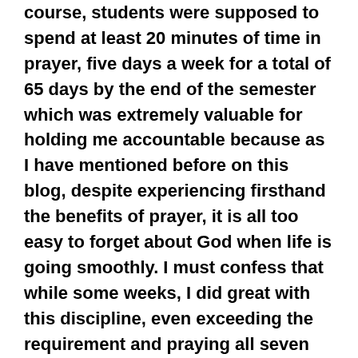course, students were supposed to spend at least 20 minutes of time in prayer, five days a week for a total of 65 days by the end of the semester which was extremely valuable for holding me accountable because as I have mentioned before on this blog, despite experiencing firsthand the benefits of prayer, it is all too easy to forget about God when life is going smoothly. I must confess that while some weeks, I did great with this discipline, even exceeding the requirement and praying all seven days, some weeks, the days would get away from me and I would realize I only prayed one or two days that week. So by the end of the semester, I had only prayed 54 of the 65 days. I must also confess that now that the semester is over and there are no course requirements to hold me somewhat